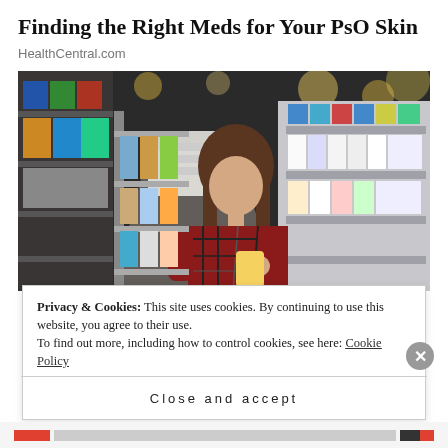Finding the Right Meds for Your PsO Skin
HealthCentral.com
[Figure (photo): Woman in plaid shirt reading product label in a pharmacy/store aisle with shelves of products visible]
Privacy & Cookies: This site uses cookies. By continuing to use this website, you agree to their use.
To find out more, including how to control cookies, see here: Cookie Policy
Close and accept